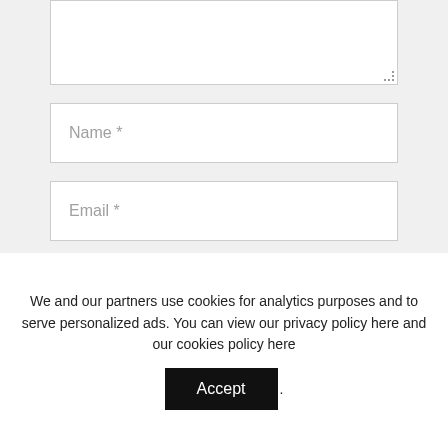[Figure (screenshot): A web comment form showing a textarea (partially visible, with resize handle), followed by Name*, Email*, and Website input fields, and a checkbox labeled 'Save my name, email, and website in this browser for the next time I comment.']
We and our partners use cookies for analytics purposes and to serve personalized ads. You can view our privacy policy here and our cookies policy here
Accept .